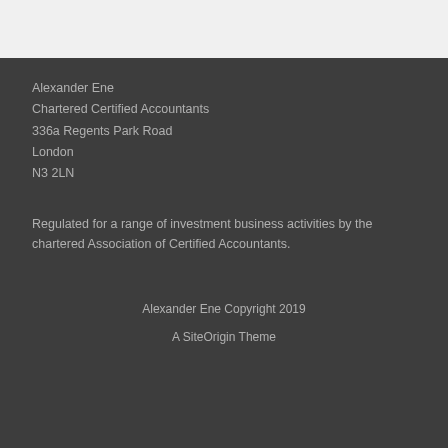Alexander Ene
Chartered Certified Accountants
336a Regents Park Road
London
N3 2LN
Regulated for a range of investment business activities by the chartered Association of Certified Accountants.
Alexander Ene Copyright 2019
A SiteOrigin Theme